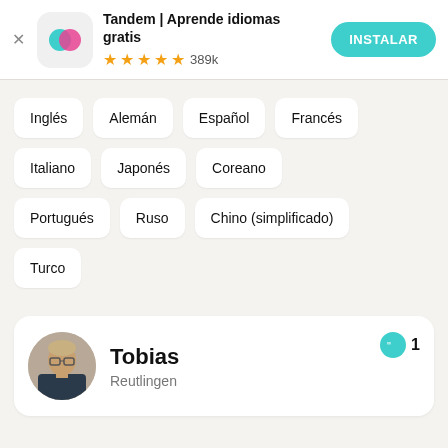[Figure (screenshot): Tandem app ad banner with logo, title 'Tandem | Aprende idiomas gratis', star rating 389k reviews, and INSTALAR button]
Inglés
Alemán
Español
Francés
Italiano
Japonés
Coreano
Portugués
Ruso
Chino (simplificado)
Turco
[Figure (photo): Review card showing photo of Tobias from Reutlingen with a quote badge showing '1']